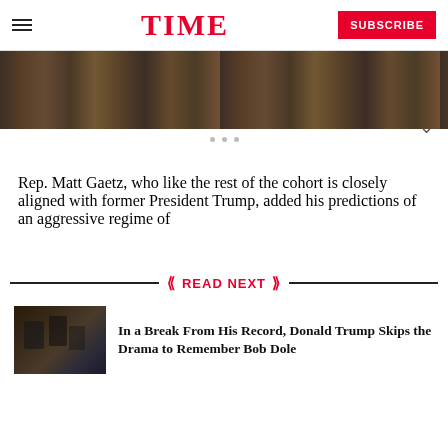TIME | SUBSCRIBE
[Figure (photo): Aerial or landscape photograph with dark earthy tones, partially visible at top of page]
Rep. Matt Gaetz, who like the rest of the cohort is closely aligned with former President Trump, added his predictions of an aggressive regime of
READ NEXT
[Figure (photo): Thumbnail photograph showing people in a formal setting, dark toned]
In a Break From His Record, Donald Trump Skips the Drama to Remember Bob Dole